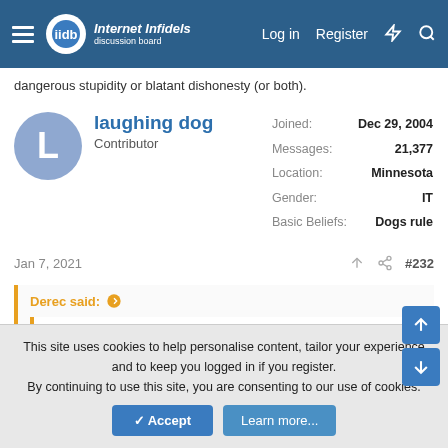Internet Infidels — Log in  Register
dangerous stupidity or blatant dishonesty (or both).
laughing dog
Contributor
Joined: Dec 29, 2004
Messages: 21,377
Location: Minnesota
Gender: IT
Basic Beliefs: Dogs rule
Jan 7, 2021  #232
Derec said:
laughing dog said:
Is it possible to forego "whataboutisms" just once?
This site uses cookies to help personalise content, tailor your experience and to keep you logged in if you register.
By continuing to use this site, you are consenting to our use of cookies.